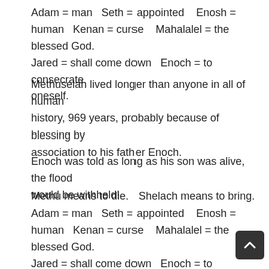Adam = man  Seth = appointed   Enosh = human   Kenan = curse   Mahalalel = the blessed God. Jared = shall come down   Enoch = to consecrate oneself.
Methuselah lived longer than anyone in all of human history, 969 years, probably because of blessing by association to his father Enoch.
Enoch was told as long as his son was alive, the flood would be withheld!
Methu means to die.   Shelach means to bring.
Adam = man  Seth = appointed   Enosh = human   Kenan = curse   Mahalalel = the blessed God. Jared = shall come down   Enoch = to consecrate oneself.    Methuselah = "his death shall bring".
Adam = man  Seth = appointed   Enosh = human   Kenan = curse   Mahalalel = the blessed God. Jared = shall come down   Enoch = to consecrate oneself.    Methuselah = "his death shall